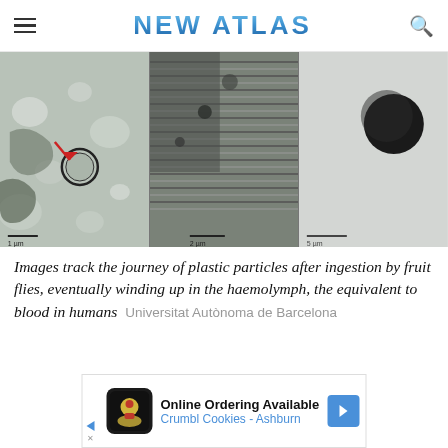NEW ATLAS
[Figure (photo): Three electron microscopy images showing plastic particles tracked through fruit fly tissue: left panel shows cellular detail with a red arrow pointing to a circular plastic particle; middle panel shows densely packed fibrous tissue structure; right panel shows a large dark circular particle on a light background with scale bar.]
Images track the journey of plastic particles after ingestion by fruit flies, eventually winding up in the haemolymph, the equivalent to blood in humans  Universitat Autònoma de Barcelona
[Figure (screenshot): Advertisement banner: Online Ordering Available - Crumbl Cookies - Ashburn, with Crumbl Cookies logo and navigation arrow.]